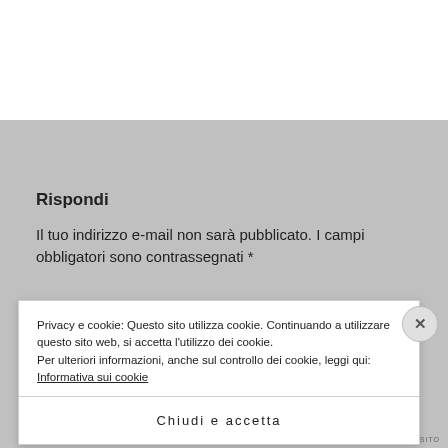Rispondi
Il tuo indirizzo e-mail non sarà pubblicato. I campi obbligatori sono contrassegnati *
Privacy e cookie: Questo sito utilizza cookie. Continuando a utilizzare questo sito web, si accetta l'utilizzo dei cookie.
Per ulteriori informazioni, anche sul controllo dei cookie, leggi qui:
Informativa sui cookie
Chiudi e accetta